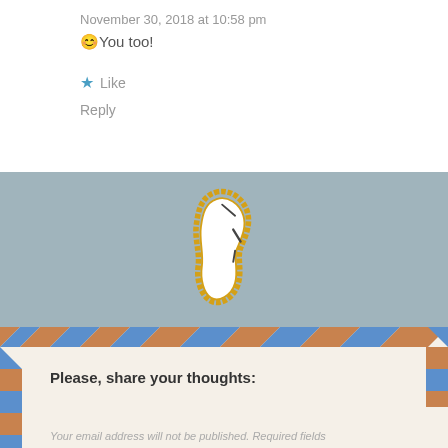November 30, 2018 at 10:58 pm
😊You too!
★ Like
Reply
[Figure (illustration): A pencil shaving curled shape with yellow/gold zigzag border and white interior, resembling a decorative divider element]
Please, share your thoughts:
Your email address will not be published. Required fields